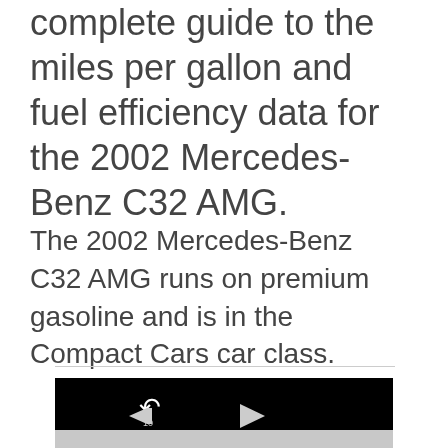complete guide to the miles per gallon and fuel efficiency data for the 2002 Mercedes-Benz C32 AMG.
The 2002 Mercedes-Benz C32 AMG runs on premium gasoline and is in the Compact Cars car class.
[Figure (screenshot): A video player with a black screen area showing rewind and play buttons, and a light gray controls bar below.]